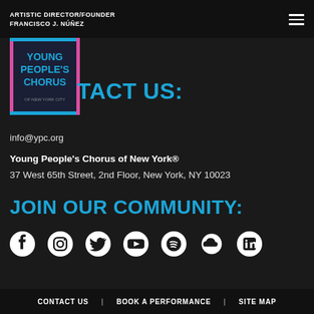ARTISTIC DIRECTOR/FOUNDER
FRANCISCO J. NÚÑEZ
[Figure (logo): Young People's Chorus of New York City logo — dark square with cyan/pink border and white text]
CONTACT US:
info@ypc.org
Young People's Chorus of New York®
37 West 65th Street, 2nd Floor, New York, NY 10023
JOIN OUR COMMUNITY:
[Figure (infographic): Social media icons: Facebook, Instagram, Twitter, YouTube, Spotify, SoundCloud, LinkedIn]
CONTACT US  |  BOOK A PERFORMANCE  |  SITE MAP